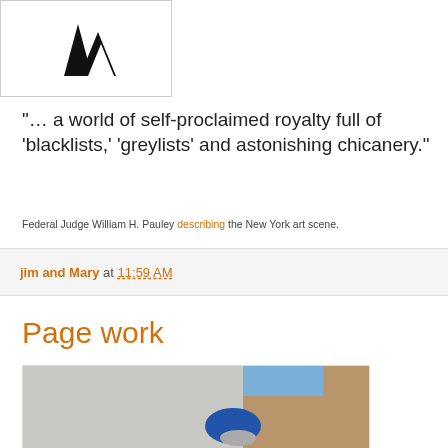[Figure (logo): Logo with stylized flame/wave shapes in black on white background]
“… a world of self-proclaimed royalty full of ‘blacklists,’ ‘greylists’ and astonishing chicanery.”
Federal Judge William H. Pauley describing the New York art scene.
jim and Mary at 11:59 AM
Page work
[Figure (photo): Overhead view of a person in a blue top working on papers on a white table, with a wooden floor visible and a blue-lit wall in the background]